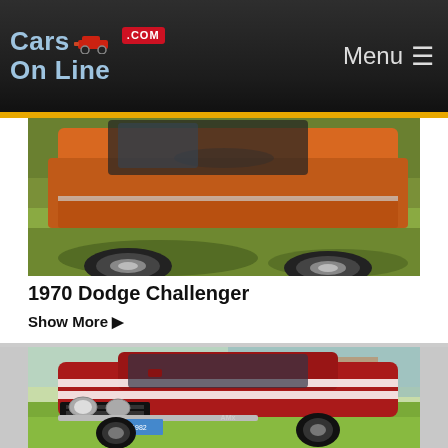Cars On Line .com   Menu ☰
[Figure (photo): Partial view of an orange classic muscle car (bottom front end and wheel visible) parked on grass, cropped at top]
1970 Dodge Challenger
Show More ▶
[Figure (photo): Red classic AMC Javelin with white racing stripes parked on grass near water, front three-quarter view]